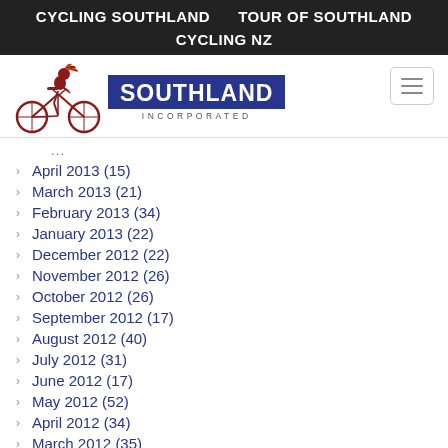CYCLING SOUTHLAND    TOUR OF SOUTHLAND
CYCLING NZ
[Figure (logo): Cycling Southland Incorporated logo with cyclist illustration and blue SOUTHLAND text block]
April 2013 (15)
March 2013 (21)
February 2013 (34)
January 2013 (22)
December 2012 (22)
November 2012 (26)
October 2012 (26)
September 2012 (17)
August 2012 (40)
July 2012 (31)
June 2012 (17)
May 2012 (52)
April 2012 (34)
March 2012 (35)